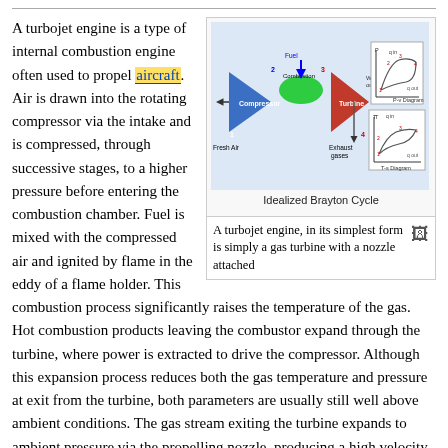[Figure (schematic): Diagram of a turbojet engine showing Idealized Brayton Cycle with components: Fuel, Combustion, Compressor, Turbine, Fresh Air intake, Exhaust gases, Work out label, and two thermodynamic diagrams: P-v Diagram and T-s Diagram.]
A turbojet engine, in its simplest form is simply a gas turbine with a nozzle attached
A turbojet engine is a type of internal combustion engine often used to propel aircraft. Air is drawn into the rotating compressor via the intake and is compressed, through successive stages, to a higher pressure before entering the combustion chamber. Fuel is mixed with the compressed air and ignited by flame in the eddy of a flame holder. This combustion process significantly raises the temperature of the gas. Hot combustion products leaving the combustor expand through the turbine, where power is extracted to drive the compressor. Although this expansion process reduces both the gas temperature and pressure at exit from the turbine, both parameters are usually still well above ambient conditions. The gas stream exiting the turbine expands to ambient pressure via the propelling nozzle, producing a high velocity jet in the exhaust plume. If the jet velocity exceeds the aircraft flight velocity, there is a net forward thrust upon the airframe.
Under normal circumstances, the pumping action of the compressor prevents any backflow, thus facilitating the continuous flow process of the